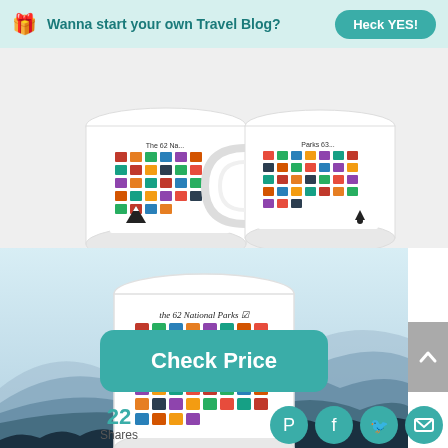Wanna start your own Travel Blog? Heck YES!
[Figure (photo): Two white ceramic mugs showing all 62 National Parks illustrated artwork, side by side on white background]
[Figure (photo): Large white ceramic mug with 62 National Parks illustrated artwork, displayed against a misty blue mountain landscape background]
Check Price
22 Shares